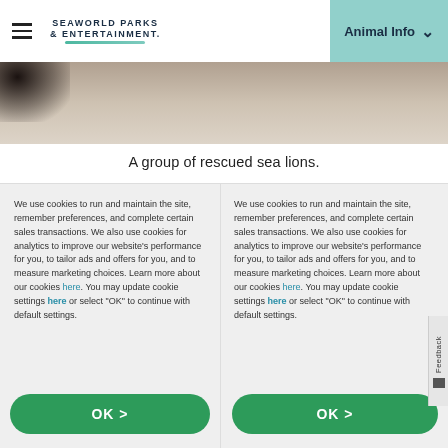SeaWorld Parks & Entertainment | Animal Info
[Figure (photo): Partial view of a group of rescued sea lions on sandy ground, cropped at top of page]
A group of rescued sea lions.
We use cookies to run and maintain the site, remember preferences, and complete certain sales transactions. We also use cookies for analytics to improve our website’s performance for you, to tailor ads and offers for you, and to measure marketing choices. Learn more about our cookies here. You may update cookie settings here or select “OK” to continue with default settings.
We use cookies to run and maintain the site, remember preferences, and complete certain sales transactions. We also use cookies for analytics to improve our website’s performance for you, to tailor ads and offers for you, and to measure marketing choices. Learn more about our cookies here. You may update cookie settings here or select “OK” to continue with default settings.